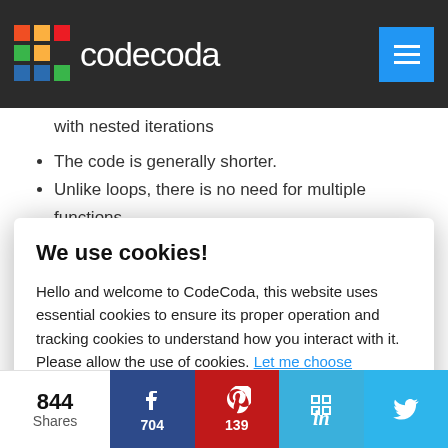codecoda
with nested iterations
The code is generally shorter.
Unlike loops, there is no need for multiple functions
Solves problems outside the jurisdiction of loops
We use cookies!
Hello and welcome to CodeCoda, this website uses essential cookies to ensure its proper operation and tracking cookies to understand how you interact with it. Please allow the use of cookies. Let me choose
Accept all
Reject all
844 Shares  704  139